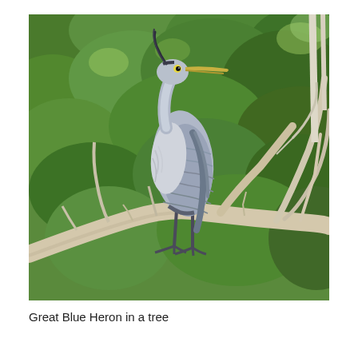[Figure (photo): A Great Blue Heron perched on bare white branches against a lush green foliage background. The large grey bird stands upright with its neck drawn in, facing left, on a tangle of dead white branches.]
Great Blue Heron in a tree